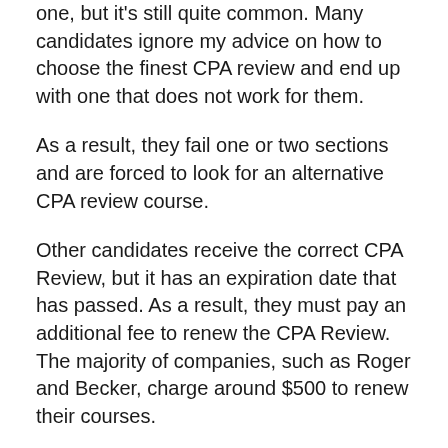one, but it's still quite common. Many candidates ignore my advice on how to choose the finest CPA review and end up with one that does not work for them.
As a result, they fail one or two sections and are forced to look for an alternative CPA review course.
Other candidates receive the correct CPA Review, but it has an expiration date that has passed. As a result, they must pay an additional fee to renew the CPA Review. The majority of companies, such as Roger and Becker, charge around $500 to renew their courses.
International Candidate